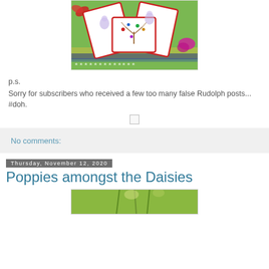[Figure (photo): Christmas cards with illustrated reindeer and colorful ornaments on a green and red patterned background]
p.s.
Sorry for subscribers who received a few too many false Rudolph posts... #doh.
No comments:
Thursday, November 12, 2020
Poppies amongst the Daisies
[Figure (photo): Partial view of poppies amongst daisies, green floral photo]